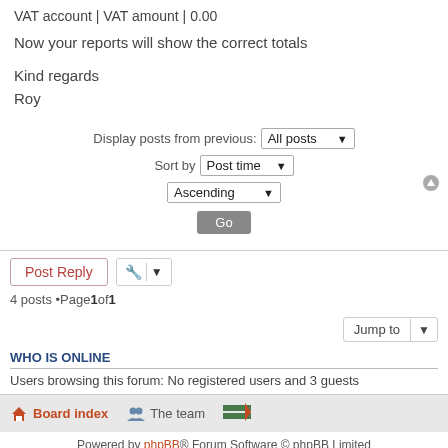VAT account | VAT amount | 0.00
Now your reports will show the correct totals
Kind regards
Roy
Display posts from previous: All posts ▼  Sort by Post time ▼  Ascending ▼  Go
Post Reply  [tool button]
4 posts •Page 1 of 1
Jump to ▼
WHO IS ONLINE
Users browsing this forum: No registered users and 3 guests
Board index   The team   [icon]
Powered by phpBB® Forum Software © phpBB Limited